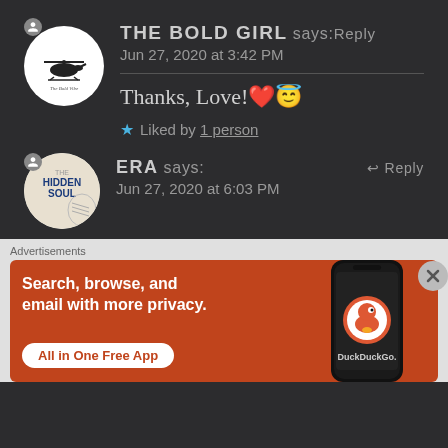THE BOLD GIRL says: Reply
Jun 27, 2020 at 3:42 PM
Thanks, Love! ❤️😇
★ Liked by 1 person
ERA says: Reply
Jun 27, 2020 at 6:03 PM
[Figure (screenshot): DuckDuckGo advertisement banner: orange background with white text 'Search, browse, and email with more privacy. All in One Free App' with a phone mockup showing DuckDuckGo app]
Advertisements